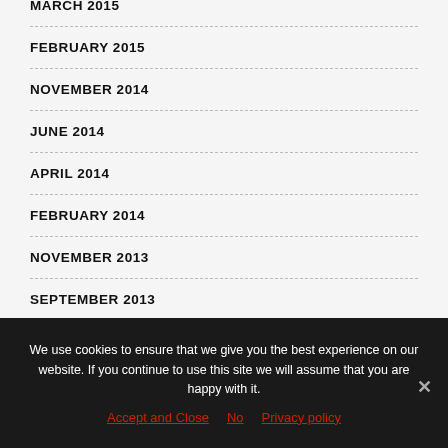MARCH 2015
FEBRUARY 2015
NOVEMBER 2014
JUNE 2014
APRIL 2014
FEBRUARY 2014
NOVEMBER 2013
SEPTEMBER 2013
AUGUST 2013
We use cookies to ensure that we give you the best experience on our website. If you continue to use this site we will assume that you are happy with it.
Accept and Close   No   Privacy policy